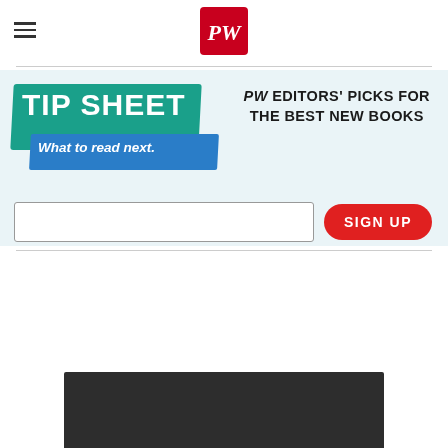[Figure (logo): PW (Publishers Weekly) red square logo with white PW initials, centered at top]
[Figure (infographic): TIP SHEET banner: teal background with white bold text 'TIP SHEET', blue slanted band with italic 'What to read next.' below. Right side reads PW EDITORS' PICKS FOR THE BEST NEW BOOKS in bold black text. Below is a white email input field and a red rounded SIGN UP button.]
[Figure (photo): Dark charcoal/black rectangular image area at the bottom of the page, partially visible]